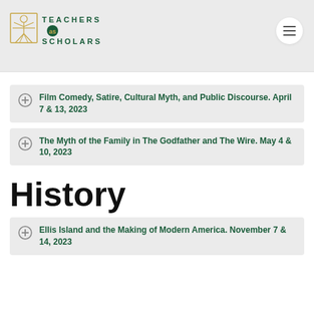[Figure (logo): Teachers as Scholars logo with Vitruvian man figure and text]
Film Comedy, Satire, Cultural Myth, and Public Discourse. April 7 & 13, 2023
The Myth of the Family in The Godfather and The Wire. May 4 & 10, 2023
History
Ellis Island and the Making of Modern America. November 7 & 14, 2023